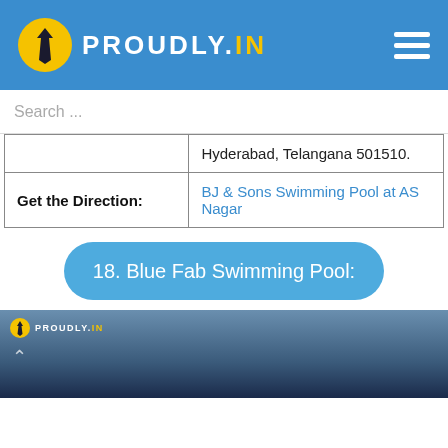PROUDLY.IN
Search ...
|  | Hyderabad, Telangana 501510. |
| Get the Direction: | BJ & Sons Swimming Pool at AS Nagar |
18. Blue Fab Swimming Pool:
[Figure (photo): Dark blue water swimming pool photo with Proudly.in watermark and back arrow at bottom of page]